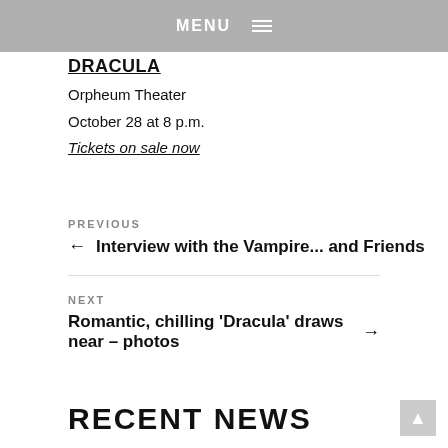patients, especially type B negative, C negative and A negative.
MENU
DRACULA
Orpheum Theater
October 28 at 8 p.m.
Tickets on sale now
PREVIOUS
← Interview with the Vampire... and Friends
NEXT
Romantic, chilling 'Dracula' draws near – photos →
RECENT NEWS